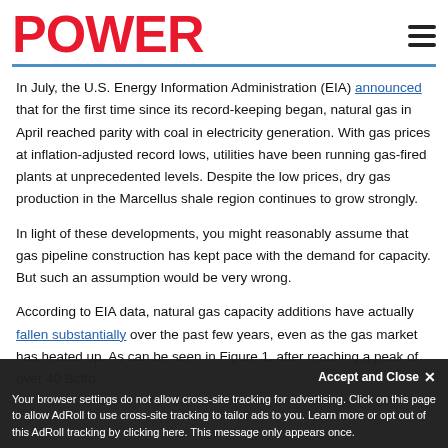POWER
In July, the U.S. Energy Information Administration (EIA) announced that for the first time since its record-keeping began, natural gas in April reached parity with coal in electricity generation. With gas prices at inflation-adjusted record lows, utilities have been running gas-fired plants at unprecedented levels. Despite the low prices, dry gas production in the Marcellus shale region continues to grow strongly.
In light of these developments, you might reasonably assume that gas pipeline construction has kept pace with the demand for capacity. But such an assumption would be very wrong.
According to EIA data, natural gas capacity additions have actually fallen substantially over the past few years, even as the gas market has heated up. As can be seen in Figure 1, after reaching a peak of over 40 Bcf/d...
Your browser settings do not allow cross-site tracking for advertising. Click on this page to allow AdRoll to use cross-site tracking to tailor ads to you. Learn more or opt out of this AdRoll tracking by clicking here. This message only appears once.